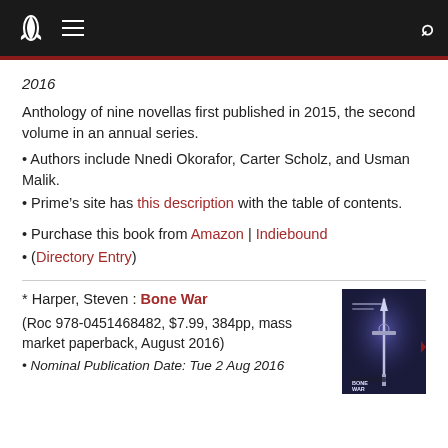Navigation bar with rocket logo, hamburger menu, and search icon
2016
Anthology of nine novellas first published in 2015, the second volume in an annual series.
· Authors include Nnedi Okorafor, Carter Scholz, and Usman Malik.
· Prime's site has this description with the table of contents.
· Purchase this book from Amazon | Indiebound
· (Directory Entry)
* Harper, Steven : Bone War (Roc 978-0451468482, $7.99, 384pp, mass market paperback, August 2016)
· Nominal Publication Date: Tue 2 Aug 2016